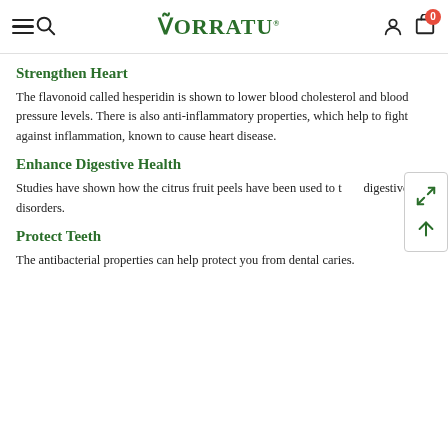Vorratu
Strengthen Heart
The flavonoid called hesperidin is shown to lower blood cholesterol and blood pressure levels. There is also anti-inflammatory properties, which help to fight against inflammation, known to cause heart disease.
Enhance Digestive Health
Studies have shown how the citrus fruit peels have been used to treat digestive disorders.
Protect Teeth
The antibacterial properties can help protect you from dental caries.